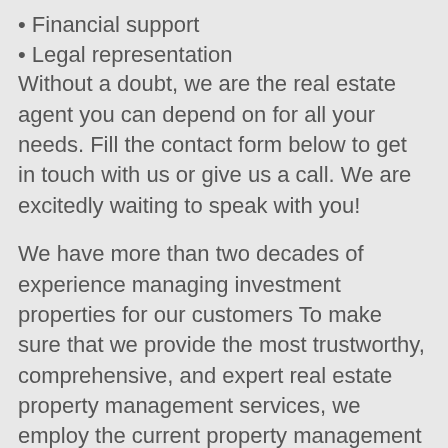• Financial support
• Legal representation
Without a doubt, we are the real estate agent you can depend on for all your needs. Fill the contact form below to get in touch with us or give us a call. We are excitedly waiting to speak with you!
We have more than two decades of experience managing investment properties for our customers To make sure that we provide the most trustworthy, comprehensive, and expert real estate property management services, we employ the current property management systems.
Throughout the years, we have developed strong relationships with property owners and provide superior services in every element of the property management process. We develop a strong bond with renters and leave our way to match the best renters with your